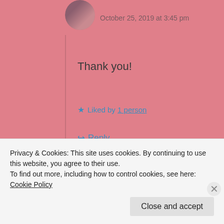October 25, 2019 at 3:45 pm
Thank you!
★ Liked by 1 person
↳ Reply
theorangutanlibrarian
October 25, 2019 at 10:30 pm
Privacy & Cookies: This site uses cookies. By continuing to use this website, you agree to their use.
To find out more, including how to control cookies, see here: Cookie Policy
Close and accept